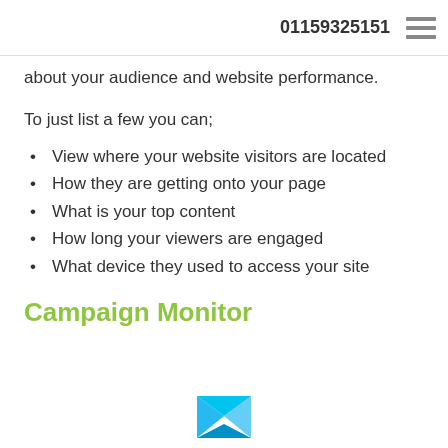01159325151
about your audience and website performance.
To just list a few you can;
View where your website visitors are located
How they are getting onto your page
What is your top content
How long your viewers are engaged
What device they used to access your site
Campaign Monitor
[Figure (logo): Campaign Monitor logo - blue envelope/bird icon at bottom center of page]